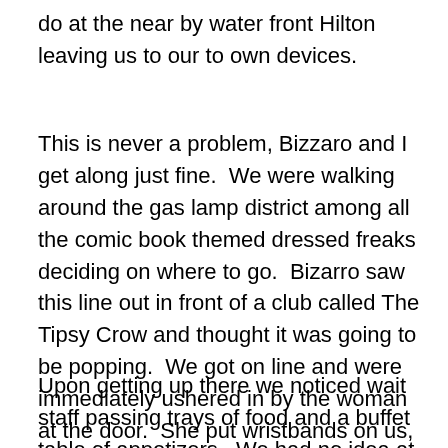do at the near by water front Hilton leaving us to our to own devices.
This is never a problem, Bizzaro and I get along just fine.  We were walking around the gas lamp district among all the comic book themed dressed freaks deciding on where to go.  Bizarro saw this line out in front of a club called The Tipsy Crow and thought it was going to be popping.  We got on line and were immediately ushered in by the woman at the door.  She put wristbands on us, pointed to a small stair case and told us to have a good time.  Next thing we knew we were in a private party for one of the films that was premiered at Comic Con.
Upon getting up there we noticed wait staff passing trays of food and a buffet table of appetizers.  We had no idea at this point what was going on besides the fact that we most